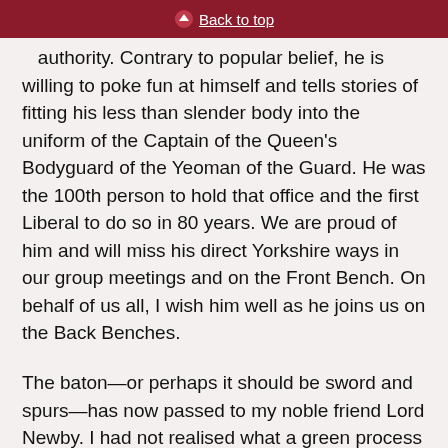Back to top
authority. Contrary to popular belief, he is willing to poke fun at himself and tells stories of fitting his less than slender body into the uniform of the Captain of the Queen's Bodyguard of the Yeoman of the Guard. He was the 100th person to hold that office and the first Liberal to do so in 80 years. We are proud of him and will miss his direct Yorkshire ways in our group meetings and on the Front Bench. On behalf of us all, I wish him well as he joins us on the Back Benches.
The baton—or perhaps it should be sword and spurs—has now passed to my noble friend Lord Newby. I had not realised what a green process it is as far as the uniform is concerned. Not a penny of taxpayers' money is wasted. I understand that, thanks to